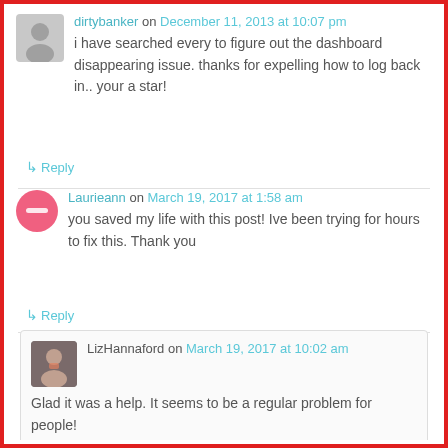dirtybanker on December 11, 2013 at 10:07 pm
i have searched every to figure out the dashboard disappearing issue. thanks for expelling how to log back in.. your a star!
Reply
Laurieann on March 19, 2017 at 1:58 am
you saved my life with this post! Ive been trying for hours to fix this. Thank you
Reply
LizHannaford on March 19, 2017 at 10:02 am
Glad it was a help. It seems to be a regular problem for people!
Reply